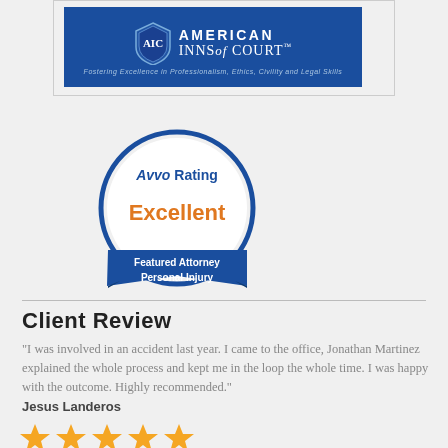[Figure (logo): American Inns of Court logo — blue background with shield emblem and text 'AMERICAN INNS of COURT — Fostering Excellence in Professionalism, Ethics, Civility and Legal Skills']
[Figure (infographic): Avvo Rating badge showing 'Excellent' rating in orange text, with 'Featured Attorney Personal Injury' banner on a blue shield/circle design]
Client Review
"I was involved in an accident last year. I came to the office, Jonathan Martinez explained the whole process and kept me in the loop the whole time. I was happy with the outcome. Highly recommended."
Jesus Landeros
[Figure (other): Five gold star rating icons]